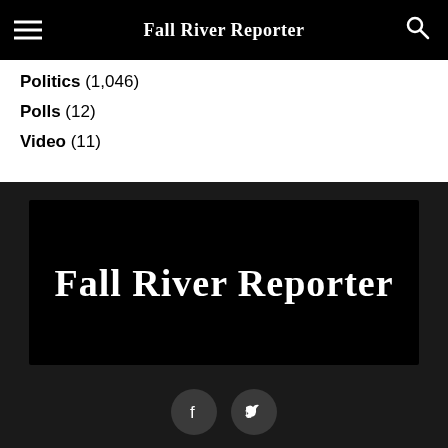Fall River Reporter
Politics (1,046)
Polls (12)
Video (11)
[Figure (logo): Fall River Reporter logo — white bold serif text on black background]
[Figure (infographic): Facebook and Twitter social media icon circles]
Copyright © 2017 Fall River Reporter